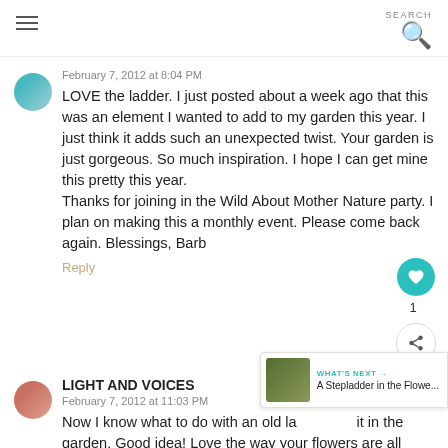SEARCH
February 7, 2012 at 8:04 PM
LOVE the ladder. I just posted about a week ago that this was an element I wanted to add to my garden this year. I just think it adds such an unexpected twist. Your garden is just gorgeous. So much inspiration. I hope I can get mine this pretty this year.
Thanks for joining in the Wild About Mother Nature party. I plan on making this a monthly event. Please come back again. Blessings, Barb
Reply
LIGHT AND VOICES
February 7, 2012 at 11:03 PM
Now I know what to do with an old ladder. Put it in the garden. Good idea! Love the way your flowers are all blooming so happy.